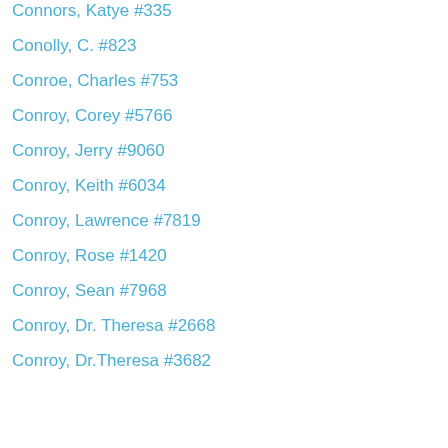Connors, Katye #335
Conolly, C. #823
Conroe, Charles #753
Conroy, Corey #5766
Conroy, Jerry #9060
Conroy, Keith #6034
Conroy, Lawrence #7819
Conroy, Rose #1420
Conroy, Sean #7968
Conroy, Dr. Theresa #2668
Conroy, Dr.Theresa #3682